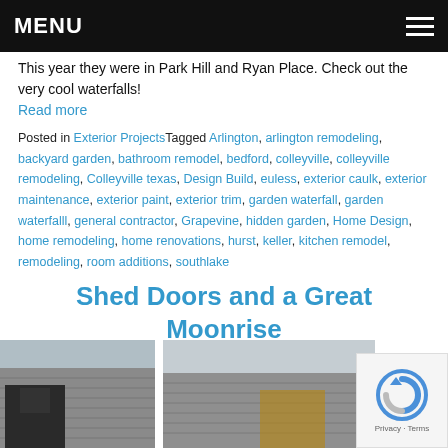MENU
This year they were in Park Hill and Ryan Place. Check out the very cool waterfalls!
Read more
Posted in Exterior ProjectsTagged Arlington, arlington remodeling, backyard garden, bathroom remodel, bedford, colleyville, colleyville remodeling, Colleyville texas, Design Build, euless, exterior caulk, exterior maintenance, exterior paint, exterior trim, garden waterfall, garden waterfalll, general contractor, Grapevine, hidden garden, Home Design, home remodeling, home renovations, hurst, keller, kitchen remodel, remodeling, room additions, southlake
Shed Doors and a Great Moonrise
[Figure (photo): Two photos of a shed/building exterior showing siding and doors]